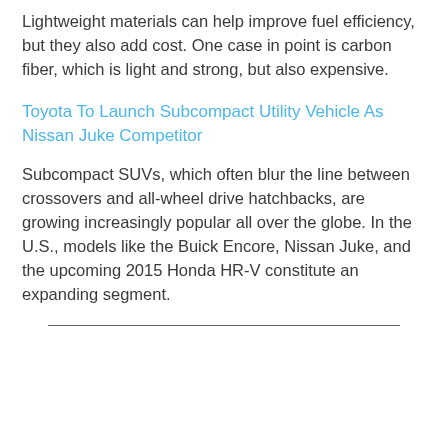Lightweight materials can help improve fuel efficiency, but they also add cost. One case in point is carbon fiber, which is light and strong, but also expensive.
Toyota To Launch Subcompact Utility Vehicle As Nissan Juke Competitor
Subcompact SUVs, which often blur the line between crossovers and all-wheel drive hatchbacks, are growing increasingly popular all over the globe. In the U.S., models like the Buick Encore, Nissan Juke, and the upcoming 2015 Honda HR-V constitute an expanding segment.